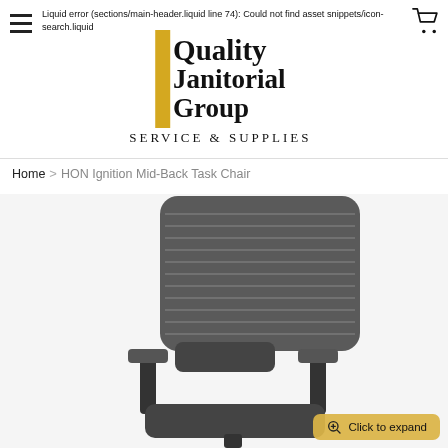Liquid error (sections/main-header.liquid line 74): Could not find asset snippets/icon-search.liquid
[Figure (logo): Quality Janitorial Group Service & Supplies logo with yellow vertical bar on left side]
Home > HON Ignition Mid-Back Task Chair
[Figure (photo): HON Ignition Mid-Back Task Chair product photo showing black mesh back office chair with armrests against white background]
Click to expand